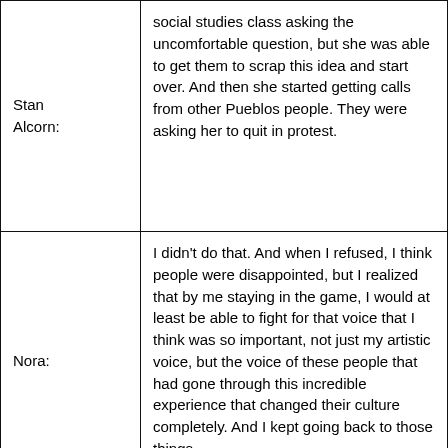| Speaker | Text |
| --- | --- |
| Stan Alcorn: | social studies class asking the uncomfortable question, but she was able to get them to scrap this idea and start over. And then she started getting calls from other Pueblos people. They were asking her to quit in protest. |
| Nora: | I didn't do that. And when I refused, I think people were disappointed, but I realized that by me staying in the game, I would at least be able to fight for that voice that I think was so important, not just my artistic voice, but the voice of these people that had gone through this incredible experience that changed their culture completely. And I kept going back to those things. |